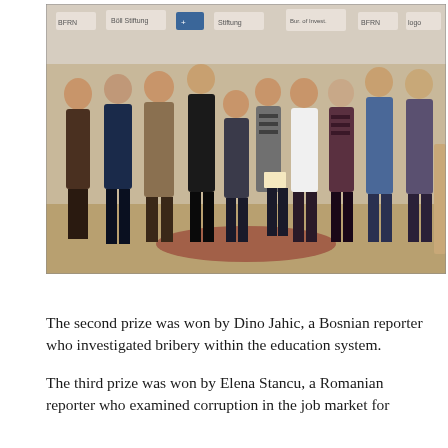[Figure (photo): Group photo of approximately ten people standing together in front of a branded backdrop with logos including BFRN and other sponsor logos. The group includes both men and women in formal/semi-formal attire, one person holding a certificate or document.]
The second prize was won by Dino Jahic, a Bosnian reporter who investigated bribery within the education system.
The third prize was won by Elena Stancu, a Romanian reporter who examined corruption in the job market for